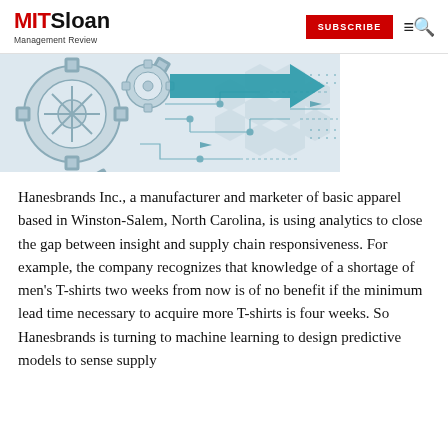MIT Sloan Management Review — SUBSCRIBE
[Figure (illustration): Technology/supply chain themed illustration with gears, circuit board lines, and a teal arrow pointing right, on a light background with hexagonal patterns.]
Hanesbrands Inc., a manufacturer and marketer of basic apparel based in Winston-Salem, North Carolina, is using analytics to close the gap between insight and supply chain responsiveness. For example, the company recognizes that knowledge of a shortage of men's T-shirts two weeks from now is of no benefit if the minimum lead time necessary to acquire more T-shirts is four weeks. So Hanesbrands is turning to machine learning to design predictive models to sense supply